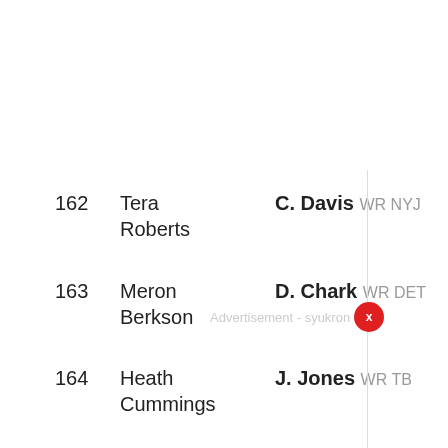162 Tera Roberts | C. Davis WR NYJ
163 Meron Berkson | D. Chark WR DET
164 Heath Cummings | J. Jones WR TB
165 Robert Thomas | M. Jones WR JAC
166 Dave Richard | T. Davis-Price RB SF